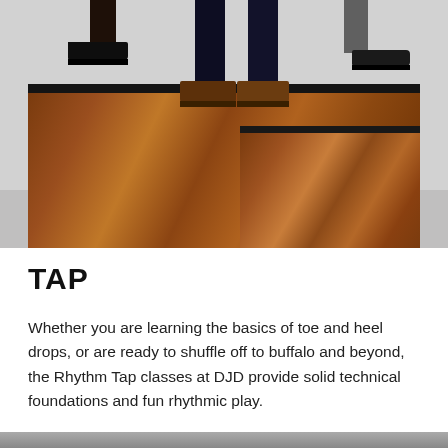[Figure (photo): Close-up photo of dancers' feet wearing tap shoes, standing on raised wooden parquet dance platforms/boxes. Three sets of legs visible: center person in dark navy pants with brown tap shoes, left person in dark pants with black shoes, right person in gray trousers with dark shoes. Background is light gray.]
TAP
Whether you are learning the basics of toe and heel drops, or are ready to shuffle off to buffalo and beyond, the Rhythm Tap classes at DJD provide solid technical foundations and fun rhythmic play.